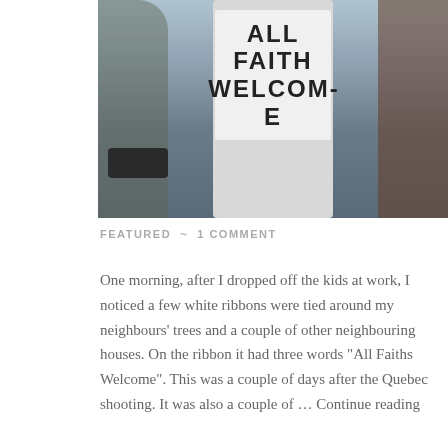[Figure (photo): Photo of a white paper sign wrapped around a pole reading 'ALL FAITHS WELCOME' in large handwritten letters, with trees and a brick building visible in the background.]
FEATURED  ~  1 COMMENT
One morning, after I dropped off the kids at work, I noticed a few white ribbons were tied around my neighbours' trees and a couple of other neighbouring houses. On the ribbon it had three words "All Faiths Welcome". This was a couple of days after the Quebec shooting. It was also a couple of … Continue reading